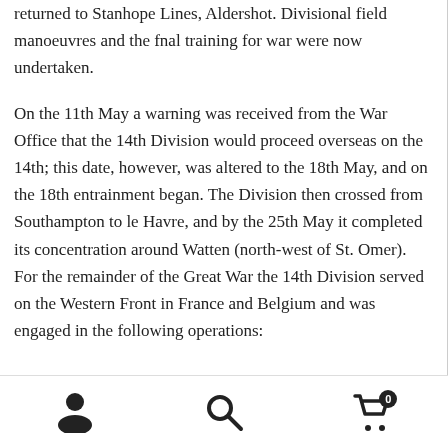returned to Stanhope Lines, Aldershot. Divisional field manoeuvres and the fnal training for war were now undertaken.

On the 11th May a warning was received from the War Office that the 14th Division would proceed overseas on the 14th; this date, however, was altered to the 18th May, and on the 18th entrainment began. The Division then crossed from Southampton to le Havre, and by the 25th May it completed its concentration around Watten (north-west of St. Omer). For the remainder of the Great War the 14th Division served on the Western Front in France and Belgium and was engaged in the following operations:
[person icon] [search icon] [cart icon with badge 0]